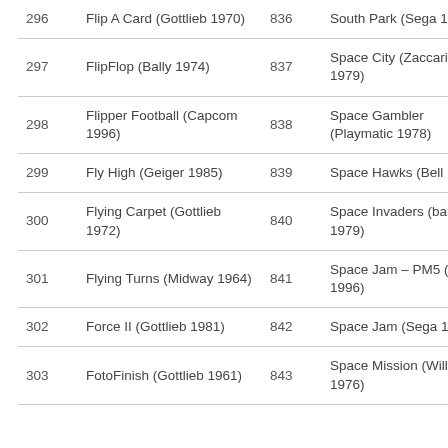| 296 | Flip A Card (Gottlieb 1970) | 836 | South Park (Sega 1999) |
| 297 | FlipFlop (Bally 1974) | 837 | Space City (Zaccaria 1979) |
| 298 | Flipper Football (Capcom 1996) | 838 | Space Gambler (Playmatic 1978) |
| 299 | Fly High (Geiger 1985) | 839 | Space Hawks (Bell 1986) |
| 300 | Flying Carpet (Gottlieb 1972) | 840 | Space Invaders (bally 1979) |
| 301 | Flying Turns (Midway 1964) | 841 | Space Jam – PM5 (Sega 1996) |
| 302 | Force II (Gottlieb 1981) | 842 | Space Jam (Sega 1996) |
| 303 | FotoFinish (Gottlieb 1961) | 843 | Space Mission (Williams 1976) |